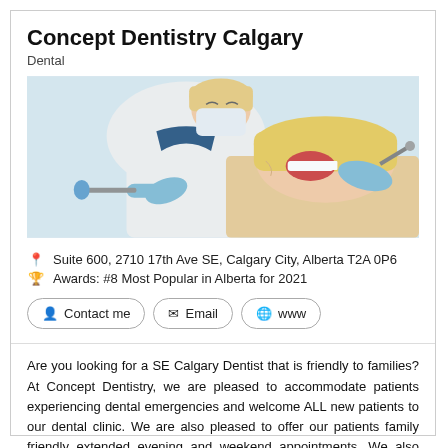Concept Dentistry Calgary
Dental
[Figure (photo): Dental professional in white uniform and blue gloves performing a dental procedure on a smiling female patient who has her mouth open.]
Suite 600, 2710 17th Ave SE, Calgary City, Alberta T2A 0P6
Awards: #8 Most Popular in Alberta for 2021
Contact me
Email
www
Are you looking for a SE Calgary Dentist that is friendly to families? At Concept Dentistry, we are pleased to accommodate patients experiencing dental emergencies and welcome ALL new patients to our dental clinic. We are also pleased to offer our patients family friendly extended evening and weekend appointments. We also offer the